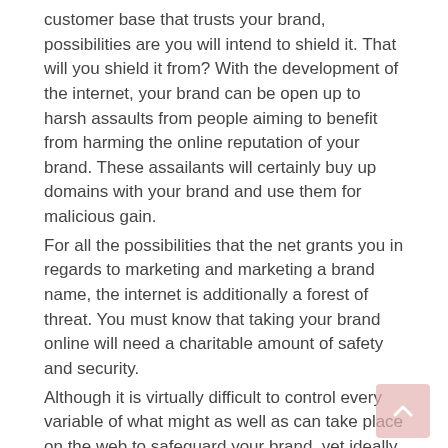customer base that trusts your brand, possibilities are you will intend to shield it. That will you shield it from? With the development of the internet, your brand can be open up to harsh assaults from people aiming to benefit from harming the online reputation of your brand. These assailants will certainly buy up domains with your brand and use them for malicious gain.
For all the possibilities that the net grants you in regards to marketing and marketing a brand name, the internet is additionally a forest of threat. You must know that taking your brand online will need a charitable amount of safety and security.
Although it is virtually difficult to control every variable of what might as well as can take place on the web to safeguard your brand, yet ideally you ought to do as much as your ways permit.
One significant means of brand defense is domain enrollment. This has lots of advantages. Securing